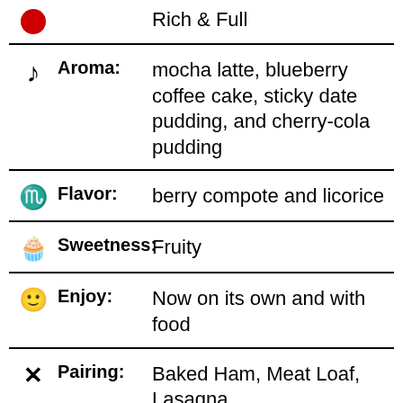Rich & Full
Aroma: mocha latte, blueberry coffee cake, sticky date pudding, and cherry-cola pudding
Flavor: berry compote and licorice
Sweetness: Fruity
Enjoy: Now on its own and with food
Pairing: Baked Ham, Meat Loaf, Lasagna